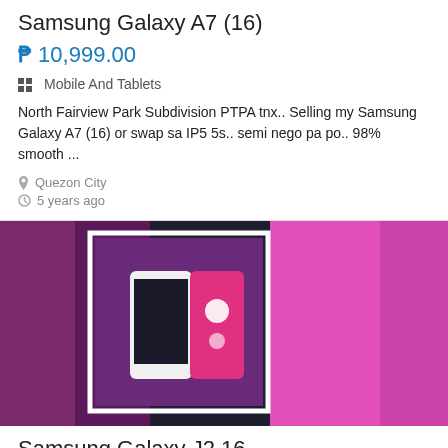Samsung Galaxy A7 (16)
₱ 10,999.00
Mobile And Tablets
North Fairview Park Subdivision PTPA tnx.. Selling my Samsung Galaxy A7 (16) or swap sa IP5 5s.. semi nego pa po.. 98% smooth ...
Quezon City
5 years ago
[Figure (photo): Product listing photo showing a Samsung Galaxy phone next to a pink Hello Kitty phone case, with blurred side images]
Samsung Galaxy J2 16
₱ 3,500.00